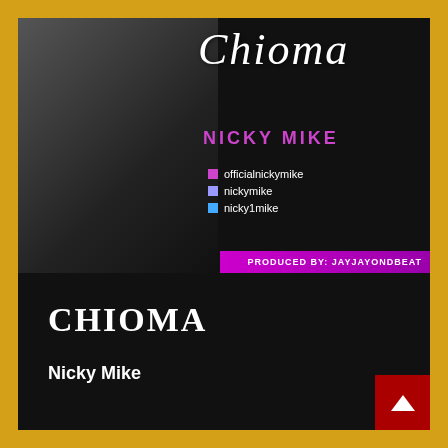[Figure (illustration): Music single cover art for 'Chioma' by Nicky Mike. Dark background with a young Black woman in grayscale on the left, script title 'Chioma' at top right in white italic font, artist name 'Nicky Mike' in pink/purple uppercase letters, social media handles (officialnickymike, nickymike, nicky1mike) with colored icons, and a purple banner at the bottom reading 'PRODUCED BY: JAYJAYONDBEAT'. Surrounded by a golden/yellow border.]
CHIOMA
Nicky Mike